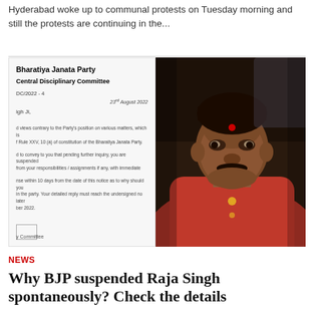Hyderabad woke up to communal protests on Tuesday morning and still the protests are continuing in the...
[Figure (photo): Left side: A scanned BJP letter from Central Disciplinary Committee (DC/2022-4, 23rd August 2022) regarding suspension of Raja Singh. Right side: Photo of Raja Singh, a man wearing a red shirt with a red bindi, seated inside what appears to be a vehicle.]
NEWS
Why BJP suspended Raja Singh spontaneously? Check the details